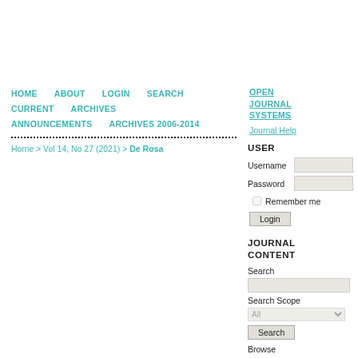HOME   ABOUT   LOGIN   SEARCH   CURRENT   ARCHIVES   ANNOUNCEMENTS   ARCHIVES 2006-2014
Home > Vol 14, No 27 (2021) > De Rosa
OPEN JOURNAL SYSTEMS
Journal Help
USER
Username
Password
Remember me
Login
JOURNAL CONTENT
Search
Search Scope
All
Search
Browse